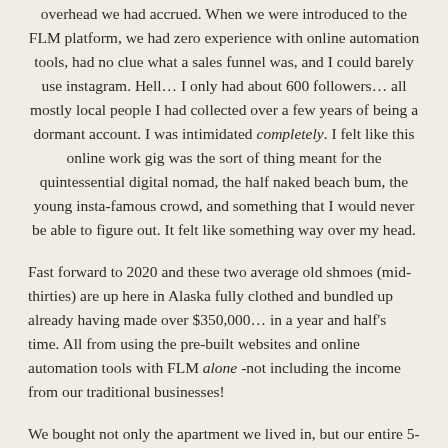overhead we had accrued. When we were introduced to the FLM platform, we had zero experience with online automation tools, had no clue what a sales funnel was, and I could barely use instagram. Hell… I only had about 600 followers… all mostly local people I had collected over a few years of being a dormant account. I was intimidated completely. I felt like this online work gig was the sort of thing meant for the quintessential digital nomad, the half naked beach bum, the young insta-famous crowd, and something that I would never be able to figure out. It felt like something way over my head.
Fast forward to 2020 and these two average old shmoes (mid-thirties) are up here in Alaska fully clothed and bundled up already having made over $350,000… in a year and half's time. All from using the pre-built websites and online automation tools with FLM alone -not including the income from our traditional businesses!
We bought not only the apartment we lived in, but our entire 5-plex apartment building that sits on the ocean here in Southeast Alaska. A few months after that, we bought our family's forever